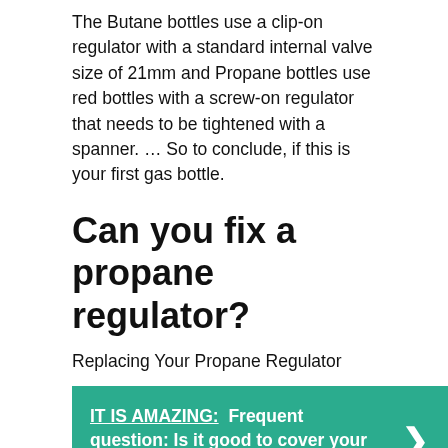The Butane bottles use a clip-on regulator with a standard internal valve size of 21mm and Propane bottles use red bottles with a screw-on regulator that needs to be tightened with a spanner. … So to conclude, if this is your first gas bottle.
Can you fix a propane regulator?
Replacing Your Propane Regulator
[Figure (infographic): Teal/green callout box with white text: IT IS AMAZING: Frequent question: Is it good to cover your grill? with a right-pointing chevron arrow on the right side.]
Replacement of the regulator is generally advisable, as opposed to repairing it. This is